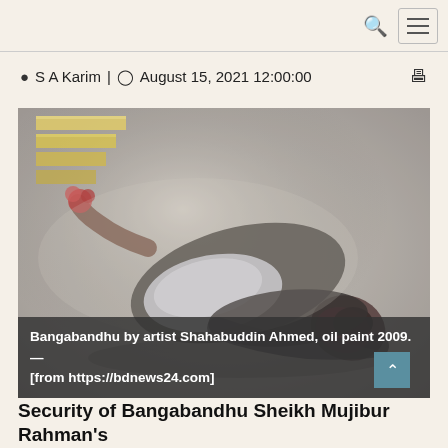S A Karim | August 15, 2021 12:00:00
[Figure (illustration): Oil painting of a fallen figure, Bangabandhu by artist Shahabuddin Ahmed, oil paint 2009. Depicts a person lying down in muted grey tones with reddish details, staircase visible in upper left corner.]
Bangabandhu by artist Shahabuddin Ahmed, oil paint 2009. — [from https://bdnews24.com]
Security of Bangabandhu Sheikh Mujibur Rahman's